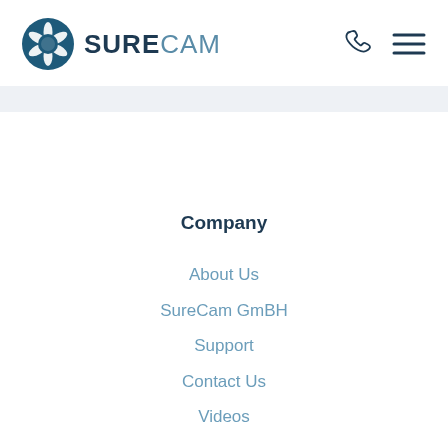[Figure (logo): SureCam logo with camera aperture icon and text SURECAM in blue tones]
[Figure (other): Phone icon and hamburger menu icon in top right navigation]
Company
About Us
SureCam GmBH
Support
Contact Us
Videos